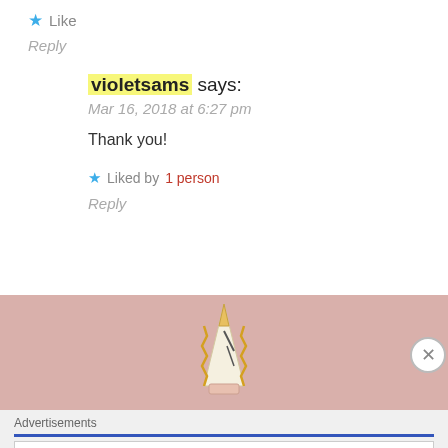★ Like
Reply
violetsams says:
Mar 16, 2018 at 6:27 pm
Thank you!
★ Liked by 1 person
Reply
[Figure (illustration): Pencil tip illustration on pink/mauve background]
Advertisements
The Platform Where WordPress Works Best   P Pressable